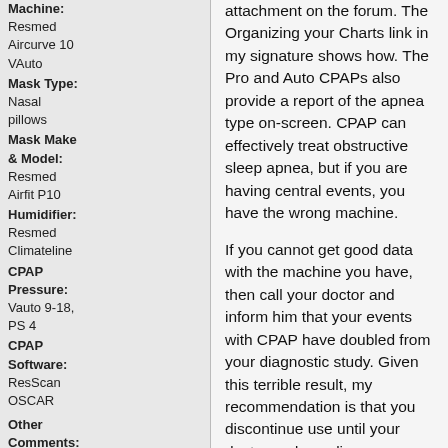Machine: Resmed Aircurve 10 VAuto
Mask Type: Nasal pillows
Mask Make & Model: Resmed Airfit P10
Humidifier: Resmed Climateline
CPAP Pressure: Vauto 9-18, PS 4
CPAP Software: ResScan OSCAR
Other Comments: 🍁🍁🍁🍁
Sex: Male Location: Murrysville
attachment on the forum. The Organizing your Charts link in my signature shows how. The Pro and Auto CPAPs also provide a report of the apnea type on-screen. CPAP can effectively treat obstructive sleep apnea, but if you are having central events, you have the wrong machine.
If you cannot get good data with the machine you have, then call your doctor and inform him that your events with CPAP have doubled from your diagnostic study. Given this terrible result, my recommendation is that you discontinue use until your doctor and supplier come up with a plan to provide effective therapy by scheduling an appropriate titration sleep study. I think it is pretty obvious that we submit to therapy with the idea of improving our health. In your case, clearly the opposite has occurred, and your doctor needs to reconsider his approach. Where have I heard "First do no harm" (primum non nocere).
Sleeprider
Apnea Board Moderator